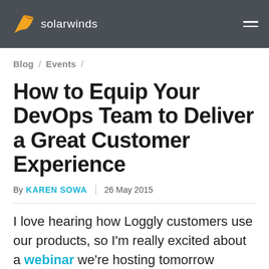solarwinds
Blog / Events /
How to Equip Your DevOps Team to Deliver a Great Customer Experience
By KAREN SOWA | 26 May 2015
I love hearing how Loggly customers use our products, so I'm really excited about a webinar we're hosting tomorrow featuring two of our customers on Mainly are and Zendesk. This